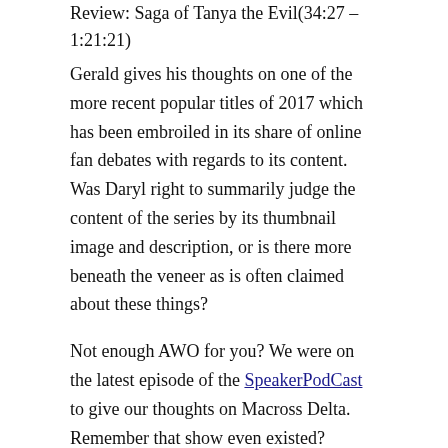Review: Saga of Tanya the Evil(34:27 – 1:21:21)
Gerald gives his thoughts on one of the more recent popular titles of 2017 which has been embroiled in its share of online fan debates with regards to its content. Was Daryl right to summarily judge the content of the series by its thumbnail image and description, or is there more beneath the veneer as is often claimed about these things?
Not enough AWO for you? We were on the latest episode of the SpeakerPodCast to give our thoughts on Macross Delta. Remember that show even existed?
Related
Anime World Order Show #24 – Ronin Warriors, 80s Sci-Fi, and…Audio Problems
Anime World Order Show #56 – Mephisto Gives Birth to a Hard-On, Busters